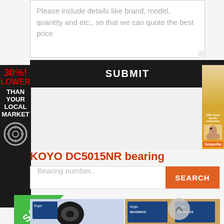Please include details like brand, model, quantity and etc., so that we can quote the best price.
SUBMIT
[Figure (infographic): Left sidebar ad: black background with red text '30%! LOWER' and white text 'THAN YOUR LOCAL MARKET' with a bearing icon at bottom]
[Figure (photo): Right sidebar advertisement showing a person with phone/headset on golden/orange background with a button at bottom]
KOYO DC5015NR bearing
Bearing number..
SEARCH
[Figure (infographic): Green triangular SALE badge in corner]
[Figure (photo): Two product photos of KOYO bearings - left shows a ball bearing with blue packaging, right shows two blue KOYO BEARINGS boxes]